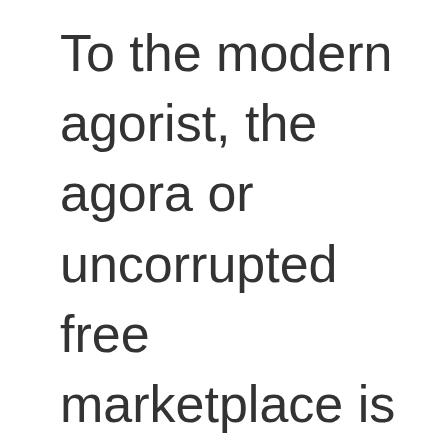To the modern agorist, the agora or uncorrupted free marketplace is the goal; the means of going from the current